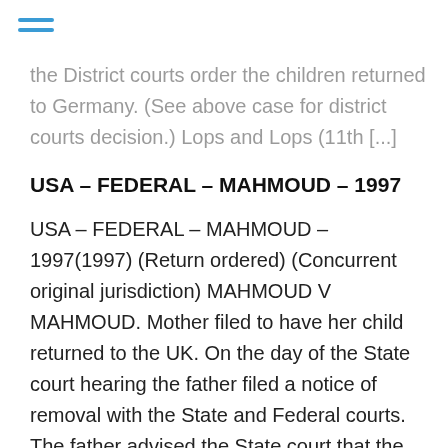the District courts order the children returned to Germany. (See above case for district courts decision.) Lops and Lops (11th [...]
USA – FEDERAL – MAHMOUD – 1997
USA – FEDERAL – MAHMOUD – 1997(1997) (Return ordered) (Concurrent original jurisdiction) MAHMOUD V MAHMOUD. Mother filed to have her child returned to the UK. On the day of the State court hearing the father filed a notice of removal with the State and Federal courts. The father advised the State court that the action had been removed. However, the State court judge still ruled in favor of the mother and granted the mothers requested relief. The mother returned to